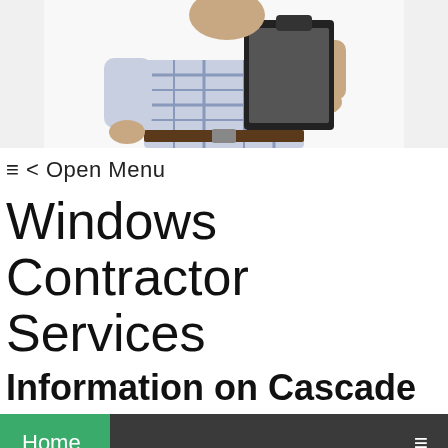[Figure (photo): Contractor in plaid shirt holding a clipboard, upper body visible, white background]
≡ < Open Menu
Windows Contractor Services
Information on Cascade
Home  ≡
▷ About Windows Manufacturers